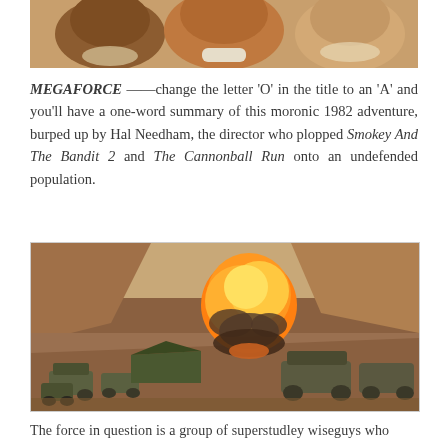[Figure (photo): Partial photo at top of page showing people, cropped — only lower portion visible showing smiling faces]
MEGAFORCE ——change the letter 'O' in the title to an 'A' and you'll have a one-word summary of this moronic 1982 adventure, burped up by Hal Needham, the director who plopped Smokey And The Bandit 2 and The Cannonball Run onto an undefended population.
[Figure (photo): Film still from Megaforce showing military vehicles in a desert canyon with a large explosion fireball in the background]
The force in question is a group of superstudley wiseguys who